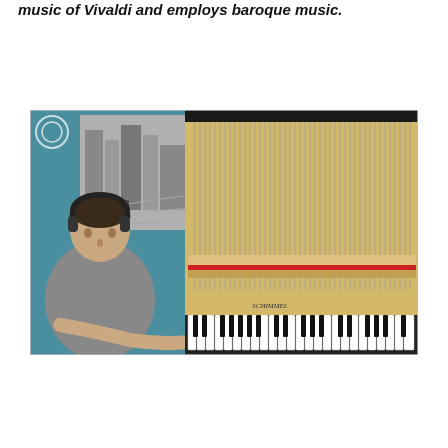music of Vivaldi and employs baroque music.
[Figure (photo): A man wearing headphones plays an upright piano in a room with teal walls and a black-and-white vintage city photograph on the wall. The piano's internal mechanism (hammers, strings) is visible with the front panel open.]